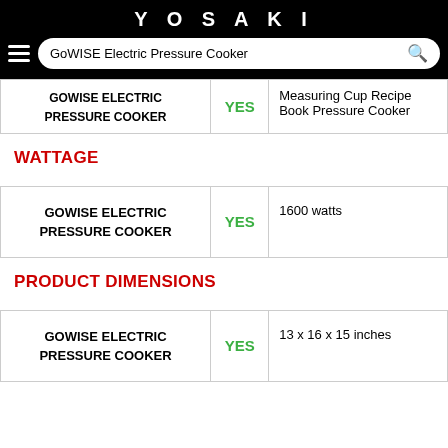YOSAKI
GoWISE Electric Pressure Cooker
| Product |  | Details |
| --- | --- | --- |
| GOWISE ELECTRIC PRESSURE COOKER | YES | Measuring Cup Recipe Book Pressure Cooker |
WATTAGE
| Product |  | Details |
| --- | --- | --- |
| GOWISE ELECTRIC PRESSURE COOKER | YES | 1600 watts |
PRODUCT DIMENSIONS
| Product |  | Details |
| --- | --- | --- |
| GOWISE ELECTRIC PRESSURE COOKER | YES | 13 x 16 x 15 inches |